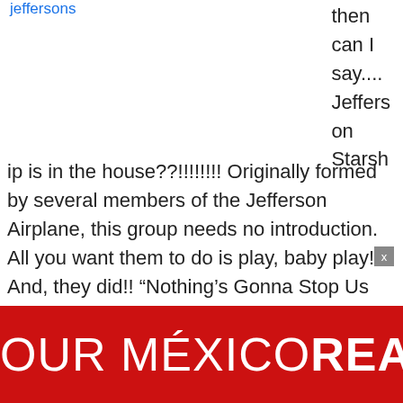jeffersons
then
can I
say....
Jefferson
Starship is in the house??!!!!!!!! Originally formed by several members of the Jefferson Airplane, this group needs no introduction. All you want them to do is play, baby play! And, they did!! “Nothing’s Gonna Stop Us Now”, “We Built This City”, “Sara”,
[Figure (other): Advertisement banner: red background with white text reading 'OUR MÉXICO REAL ESTATE EXPE...' (truncated), with a person image on the left]
x